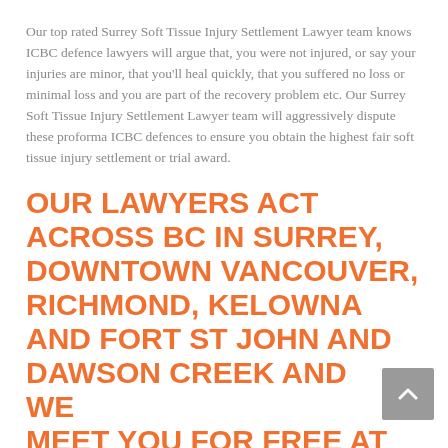Our top rated Surrey Soft Tissue Injury Settlement Lawyer team knows ICBC defence lawyers will argue that, you were not injured, or say your injuries are minor, that you'll heal quickly, that you suffered no loss or minimal loss and you are part of the recovery problem etc. Our Surrey Soft Tissue Injury Settlement Lawyer team will aggressively dispute these proforma ICBC defences to ensure you obtain the highest fair soft tissue injury settlement or trial award.
OUR LAWYERS ACT ACROSS BC IN SURREY, DOWNTOWN VANCOUVER, RICHMOND, KELOWNA AND FORT ST JOHN AND DAWSON CREEK AND WE MEET YOU FOR FREE AT OUR